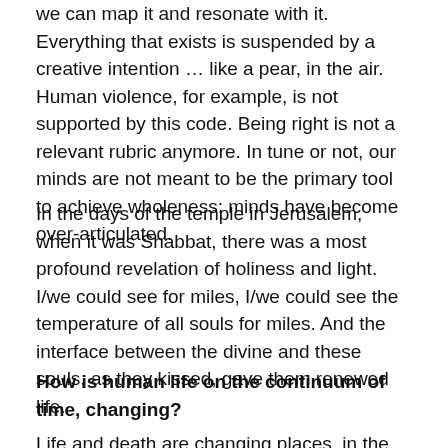we can map it and resonate with it.  Everything that exists is suspended by a creative intention … like a pear, in the air.  Human violence, for example, is not supported by this code.  Being right is not a relevant rubric anymore.  In tune or not, our minds are not meant to be the primary tool to achieve wholeness; minds have become over-articulated.
In the days of the temple in Jerusalem, when it was Shabbat, there was a most profound revelation of holiness and light.  I/we could see for miles, I/we could see the temperature of all souls for miles.  And the interface between the divine and these souls, as they kissed, gave them renewed life.
How is human life on the continuum of time, changing?
Life and death are changing places, in the sense of their